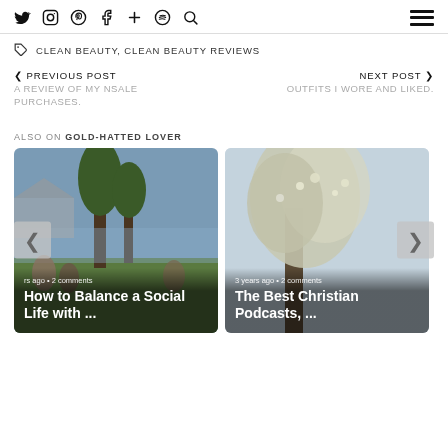Social media icons and hamburger menu
CLEAN BEAUTY, CLEAN BEAUTY REVIEWS
< PREVIOUS POST
A REVIEW OF MY NSALE PURCHASES.
NEXT POST >
OUTFITS I WORE AND LIKED.
ALSO ON GOLD-HATTED LOVER
[Figure (photo): Outdoor social gathering scene with trees and people, card for 'How to Balance a Social Life with ...' post, 3 years ago, 2 comments]
[Figure (photo): Misty trees or flowering bush scene, card for 'The Best Christian Podcasts, ...' post, 3 years ago, 2 comments]